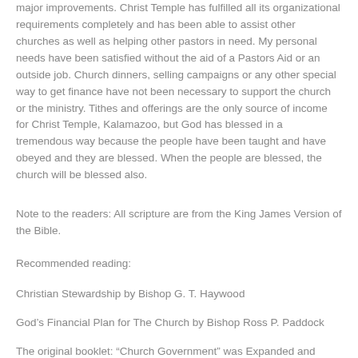major improvements. Christ Temple has fulfilled all its organizational requirements completely and has been able to assist other churches as well as helping other pastors in need. My personal needs have been satisfied without the aid of a Pastors Aid or an outside job. Church dinners, selling campaigns or any other special way to get finance have not been necessary to support the church or the ministry. Tithes and offerings are the only source of income for Christ Temple, Kalamazoo, but God has blessed in a tremendous way because the people have been taught and have obeyed and they are blessed. When the people are blessed, the church will be blessed also.
Note to the readers: All scripture are from the King James Version of the Bible.
Recommended reading:
Christian Stewardship by Bishop G. T. Haywood
God’s Financial Plan for The Church by Bishop Ross P. Paddock
The original booklet: “Church Government” was Expanded and Revised: February 1997